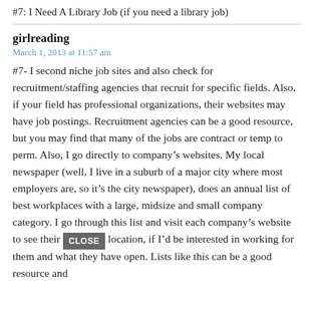#7: I Need A Library Job (if you need a library job)
girlreading
March 1, 2013 at 11:57 am
#7- I second niche job sites and also check for recruitment/staffing agencies that recruit for specific fields. Also, if your field has professional organizations, their websites may have job postings. Recruitment agencies can be a good resource, but you may find that many of the jobs are contract or temp to perm. Also, I go directly to company’s websites. My local newspaper (well, I live in a suburb of a major city where most employers are, so it’s the city newspaper), does an annual list of best workplaces with a large, midsize and small company category. I go through this list and visit each company’s website to see their location, if I’d be interested in working for them and what they have open. Lists like this can be a good resource and